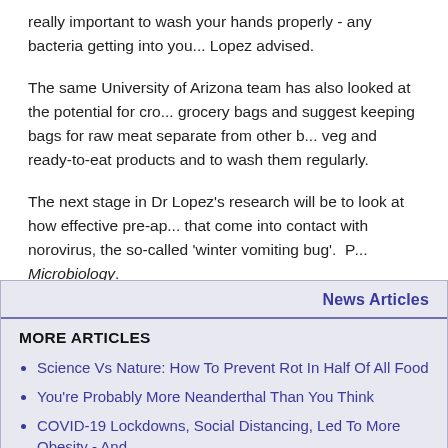really important to wash your hands properly - any bacteria getting into you... Lopez advised.
The same University of Arizona team has also looked at the potential for cro... grocery bags and suggest keeping bags for raw meat separate from other b... veg and ready-to-eat products and to wash them regularly.
The next stage in Dr Lopez's research will be to look at how effective pre-ap... that come into contact with norovirus, the so-called 'winter vomiting bug'. P... Microbiology.
News Articles
MORE ARTICLES
Science Vs Nature: How To Prevent Rot In Half Of All Food
You're Probably More Neanderthal Than You Think
COVID-19 Lockdowns, Social Distancing, Led To More Obesity - And...
ABOUT
News Releases From All Over The World, Right To You...